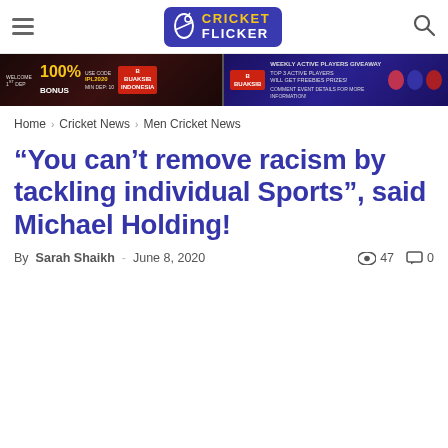Cricket Flicker — navigation header with hamburger menu and search icon
[Figure (infographic): Banner advertisement showing 100% BONUS and BUAKSIB branding on dark background]
Home › Cricket News › Men Cricket News
“You can’t remove racism by tackling individual Sports”, said Michael Holding!
By Sarah Shaikh - June 8, 2020  47  0